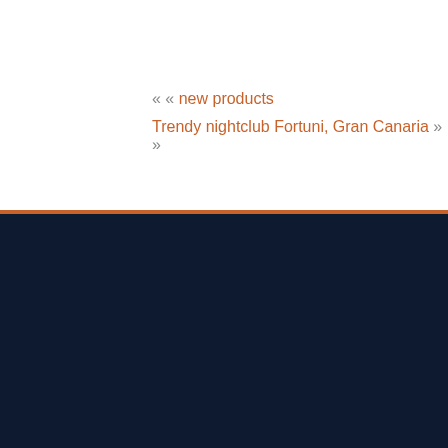[Figure (photo): Top portion of an interior photo showing a nightclub or lounge setting with dark tones, furniture visible]
« « new products
Trendy nightclub Fortuni, Gran Canaria » »
Store Locations
Los Angeles
New York
Miami
Orange County
Dallas (now open)
Back to the top